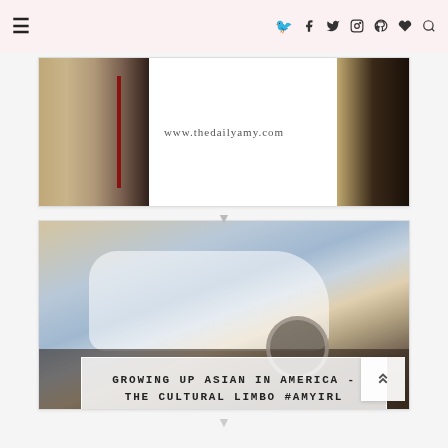Navigation bar with hamburger menu and social icons (facebook, twitter, instagram, pinterest, heart, search)
[Figure (photo): Blog banner image showing www.thedailyamy.com website header with decorative photo panels on left and right sides]
[Figure (photo): Vintage photograph of a young Asian girl standing in front of a white car, with overlaid title box reading 'GROWING UP ASIAN IN AMERICA - THE CULTURAL LIMBO #AMYIRL']
GROWING UP ASIAN IN AMERICA - THE CULTURAL LIMBO #AMYIRL